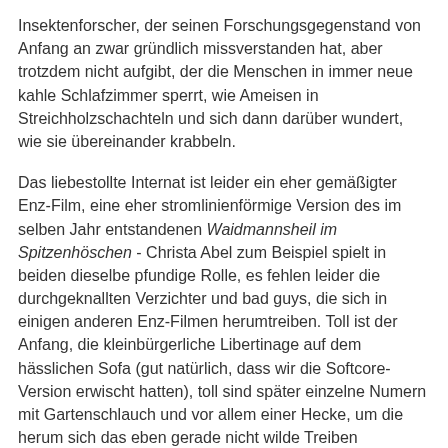Insektenforscher, der seinen Forschungsgegenstand von Anfang an zwar gründlich missverstanden hat, aber trotzdem nicht aufgibt, der die Menschen in immer neue kahle Schlafzimmer sperrt, wie Ameisen in Streichholzschachteln und sich dann darüber wundert, wie sie übereinander krabbeln.
Das liebestollte Internat ist leider ein eher gemäßigter Enz-Film, eine eher stromlinienförmige Version des im selben Jahr entstandenen Waidmannsheil im Spitzenhöschen - Christa Abel zum Beispiel spielt in beiden dieselbe pfundige Rolle, es fehlen leider die durchgeknallten Verzichter und bad guys, die sich in einigen anderen Enz-Filmen herumtreiben. Toll ist der Anfang, die kleinbürgerliche Libertinage auf dem hässlichen Sofa (gut natürlich, dass wir die Softcore-Version erwischt hatten), toll sind später einzelne Numern mit Gartenschlauch und vor allem einer Hecke, um die herum sich das eben gerade nicht wilde Treiben organisiert.
Dazwischen wird's fad, aber Enz auf 35mm ist trotzdem großartig, da vibriert die Leere in den Bildern.